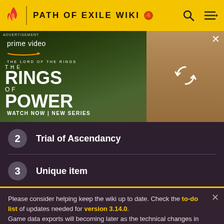PATH OF EXILE WIKI
[Figure (photo): Amazon Prime Video advertisement for 'The Lord of the Rings: The Rings of Power' showing characters from the series. Text: prime video, THE LORD OF THE RINGS, THE RINGS OF POWER, WATCH NOW | NEW SERIES. A refresh icon overlay appears on the right panel.]
2  Trial of Ascendancy
3  Unique item
Please consider helping keep the wiki up to date. Check the to-do list of updates needed for version 3.14.0. Game data exports will becoming later as the technical changes in addition to regular changes take some more time.